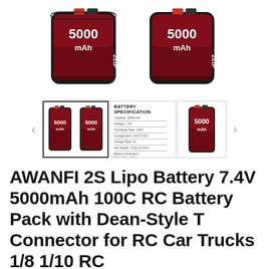[Figure (photo): Two red AWANFI 2S 5000mAh LiPo battery packs shown side by side, top product images]
[Figure (photo): Thumbnail gallery row with left/right arrows: first thumbnail shows two batteries (selected/highlighted), second shows battery specification sheet, third shows single battery]
AWANFI 2S Lipo Battery 7.4V 5000mAh 100C RC Battery Pack with Dean-Style T Connector for RC Car Trucks 1/8 1/10 RC